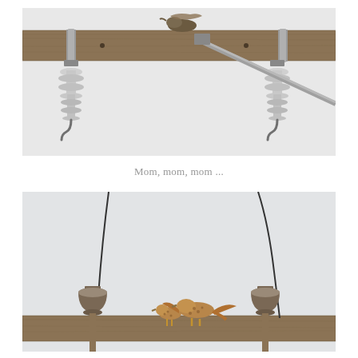[Figure (photo): Close-up view from below of a utility pole crossarm with two large white ceramic/porcelain electrical insulators hanging down on either side. The wooden beam is weathered gray-brown. Metal hardware and a diagonal brace are visible. A bird (possibly a hawk or kestrel) is perched near the top center of the frame on the crossarm.]
Mom, mom, mom ...
[Figure (photo): Photo of two birds (brown, speckled — likely kestrels or similar raptors) perched on a wooden utility pole crossarm. Two dark ceramic bell-shaped insulators are visible on either side. Thin wires hang diagonally from above. The birds appear to be interacting — one is larger (adult) and one smaller (juvenile), suggesting a feeding or begging behavior. Background is pale overcast sky.]